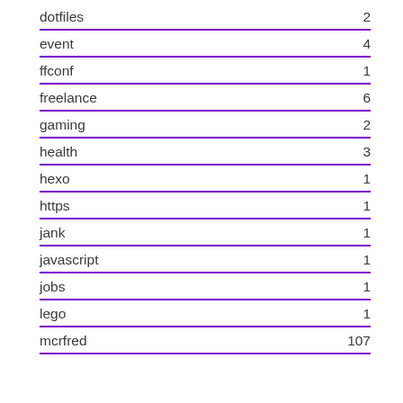dotfiles 2
event 4
ffconf 1
freelance 6
gaming 2
health 3
hexo 1
https 1
jank 1
javascript 1
jobs 1
lego 1
mcrfred 107